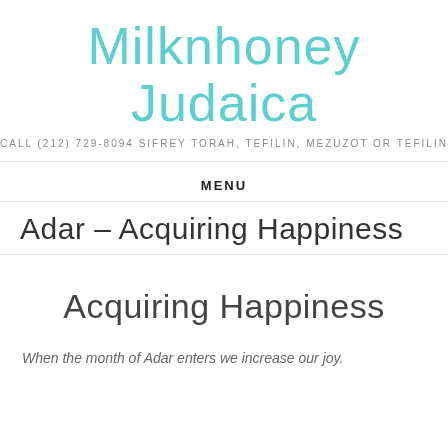Milknhoney Judaica
CALL (212) 729-8094 SIFREY TORAH, TEFILIN, MEZUZOT OR TEFILIN
MENU
Adar – Acquiring Happiness
Acquiring Happiness
When the month of Adar enters we increase our joy.